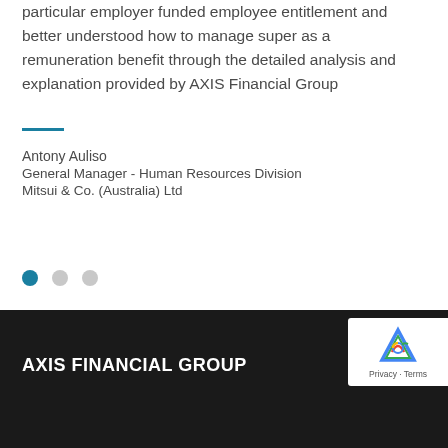particular employer funded employee entitlement and better understood how to manage super as a remuneration benefit through the detailed analysis and explanation provided by AXIS Financial Group
Antony Auliso
General Manager - Human Resources Division
Mitsui & Co. (Australia) Ltd
[Figure (other): Navigation dots: one active blue dot and two inactive grey dots]
AXIS FINANCIAL GROUP